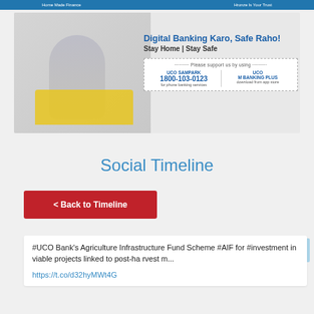Home Made Finance | Hronze Is Your Trust
[Figure (photo): UCO Bank digital banking promotional banner. A woman in a yellow top sits on a grey couch with a laptop. Text reads: 'Digital Banking Karo, Safe Raho! Stay Home | Stay Safe'. A box below shows UCO SAMPARK 1800-103-0123 for phone banking services and UCO M BANKING PLUS download from app store.]
Social Timeline
< Back to Timeline
#UCO Bank's Agriculture Infrastructure Fund Scheme #AIF for #investment in viable projects linked to post-harvest m...
https://t.co/d32hyMWt4G